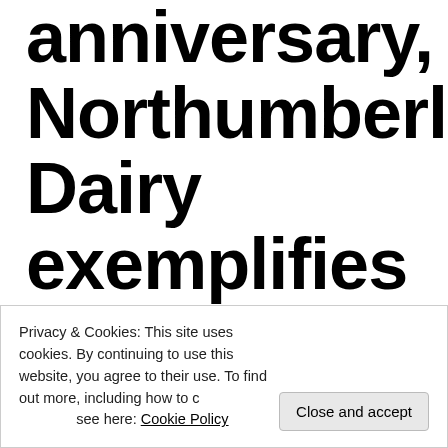anniversary, Northumberland Dairy exemplifies the resiliency of the co-operative
Privacy & Cookies: This site uses cookies. By continuing to use this website, you agree to their use. To find out more, including how to control cookies, see here: Cookie Policy